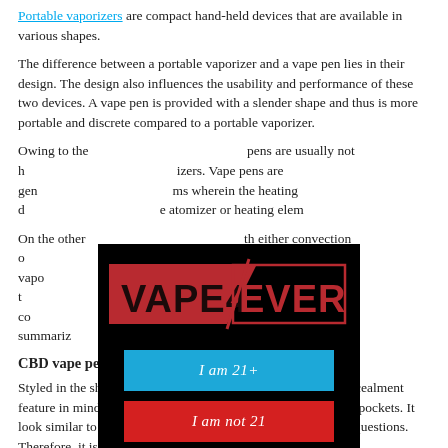Portable vaporizers are compact hand-held devices that are available in various shapes.
The difference between a portable vaporizer and a vape pen lies in their design. The design also influences the usability and performance of these two devices. A vape pen is provided with a slender shape and thus is more portable and discrete compared to a portable vaporizer.
Owing to the [obscured] pens are usually not h[obscured] izers. Vape pens are gen[obscured] ms wherein the heating d[obscured] e atomizer or heating elem[obscured]
[Figure (other): Age verification overlay with VAPE4EVER logo, a blue 'I am 21+' button, and a red 'I am not 21' button on a black background.]
On the other [obscured] ith either convection o[obscured] nd more flavorful vapo[obscured] no combustion t[obscured] e heating chamber, co[obscured] vaporization. To summariz[obscured] as portable vaporizer.
CBD vape pen
Styled in the shape of a pen, vape pen is designed keeping concealment feature in mind. You can hide it in your hands or slip into your pockets. It look similar to e-cigarettes and thus does not generate a lot of questions. Therefore, it is a lot more discreet and portable than